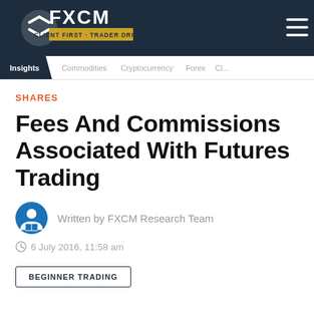[Figure (logo): FXCM logo — white text with arrows icon and tagline CLIENT FIRST · TRADER DRIVEN on navy background, with hamburger menu icon top right]
Insights   Commodities   Cryptocurrency   Forex   Cl...
SHARES
Fees And Commissions Associated With Futures Trading
Written by FXCM Research Team
6 July 2016, 11:58 am
BEGINNER TRADING